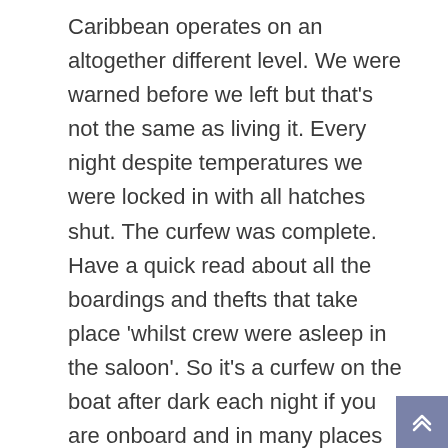Caribbean operates on an altogether different level. We were warned before we left but that's not the same as living it. Every night despite temperatures we were locked in with all hatches shut. The curfew was complete. Have a quick read about all the boardings and thefts that take place 'whilst crew were asleep in the saloon'. So it's a curfew on the boat after dark each night if you are onboard and in many places it's a curfew ashore with movement restricted to a few tourist bars. Being used to freedom we found the security aspect of the Caribbean a major downside and like many we breathed a sigh of relief upon arriving at the Azores.